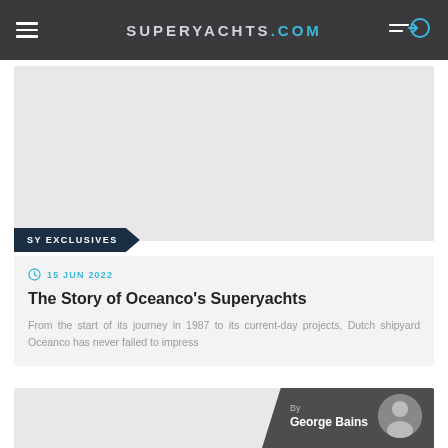SUPERYACHTS.COM
[Figure (photo): Light grey placeholder image for a superyacht article]
SY EXCLUSIVES
15 JUN 2022
The Story of Oceanco's Superyachts
From the start of its journey in 1987 to its current-day projects, Dutch shipyard Oceanco has never failed to impress
[Figure (photo): Light grey placeholder image for a second article, with author block overlay showing George Bains]
By George Bains